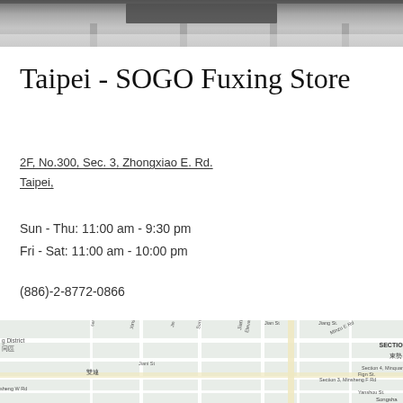[Figure (photo): Top portion of a building exterior, gray tones, architectural photo cropped at top]
Taipei - SOGO Fuxing Store
2F, No.300, Sec. 3, Zhongxiao E. Rd.
Taipei,
Sun - Thu: 11:00 am - 9:30 pm
Fri - Sat: 11:00 am - 10:00 pm
(886)-2-8772-0866
[Figure (map): Google Maps style street map showing area around SOGO Fuxing Store in Taipei, showing streets including Jianguo Elevated Rd, Xinsheng Elevated, Songjian Rd, Section 3 area labeled, Chinese characters 東勢, 雙連, street grid visible]